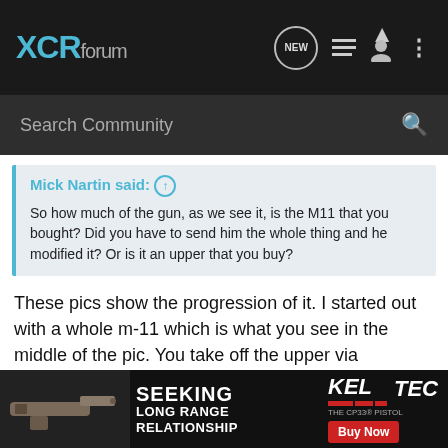XCRforum
Search Community
Mick Nartin said: ↑
So how much of the gun, as we see it, is the M11 that you bought? Did you have to send him the whole thing and he modified it? Or is it an upper that you buy?
These pics show the progression of it. I started out with a whole m-11 which is what you see in the middle of the pic. You take off the upper via removing a large pin and then Rich Lage sends you a new upper. Slap it together and you have the new and improved SMG you see on the bottom of the pic. I don't know how much a standard one weighs, not more than a couple pounds but with the new upper it's around 7 pounds without optics. You can also buy new grips, mag release, different... ...d. I have a t...
[Figure (screenshot): Advertisement banner: Kel-Tec CP33 pistol ad reading SEEKING LONG RANGE RELATIONSHIP with Buy Now button]